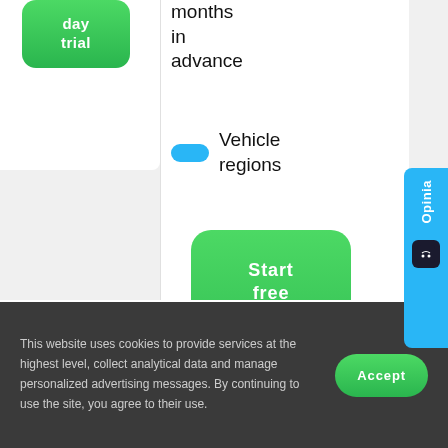[Figure (screenshot): Green 'Start free 7 day trial' button (cropped, top-left card area)]
months in advance
Vehicle regions
[Figure (screenshot): Green 'Start free 7 day trial' button (center column)]
[Figure (screenshot): Blue 'Opinia' feedback sidebar widget on the right edge]
This website uses cookies to provide services at the highest level, collect analytical data and manage personalized advertising messages. By continuing to use the site, you agree to their use.
[Figure (screenshot): Green 'Accept' button in cookie banner]